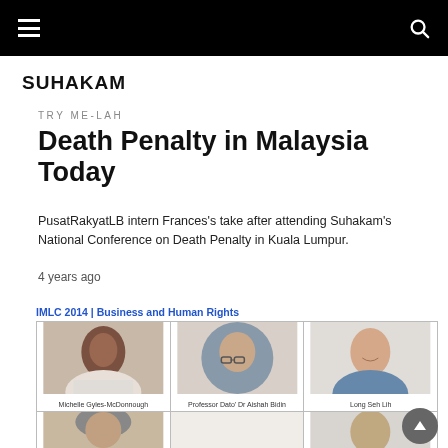SUHAKAM — navigation bar
SUHAKAM
TRY ME-LAH
Death Penalty in Malaysia Today
PusatRakyatLB intern Frances's take after attending Suhakam's National Conference on Death Penalty in Kuala Lumpur.
4 years ago
[Figure (photo): IMLC 2014 | Business and Human Rights speaker grid showing headshots of Michelle Gyles-McDonnough, Professor Dato' Dr Aishah Bidin, Long Seh Lih, and two partially visible speakers in the bottom row.]